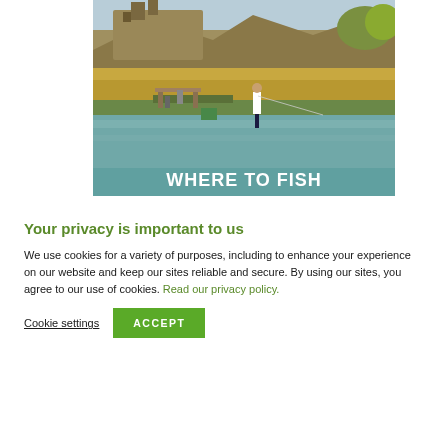[Figure (photo): A person fishing at a pond or lake with rocky buttes and a castle-like structure in the background, autumn trees visible. Bold white text overlay reads WHERE TO FISH.]
Your privacy is important to us
We use cookies for a variety of purposes, including to enhance your experience on our website and keep our sites reliable and secure. By using our sites, you agree to our use of cookies. Read our privacy policy.
Cookie settings  ACCEPT